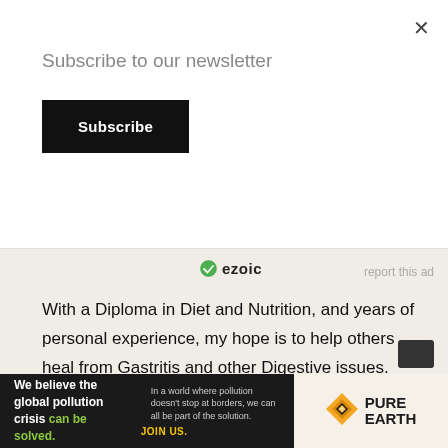×
Subscribe to our newsletter
Subscribe
[Figure (logo): Ezoic logo with green circular checkmark icon and bold 'ezoic' text]
report this ad
With a Diploma in Diet and Nutrition, and years of personal experience, my hope is to help others heal from Gastritis and other Digestive issues.
Info
Disclosure: This post may contain affiliate links. This means that at no cost to you, we may earn a small commission for qualifying purchases.
[Figure (screenshot): Pure Earth advertisement banner: dark background with text 'We believe the global pollution crisis can be solved.' and 'In a world where pollution doesn't stop at borders, we can all be part of the solution. JOIN US.' with Pure Earth diamond logo and brand name on white background.]